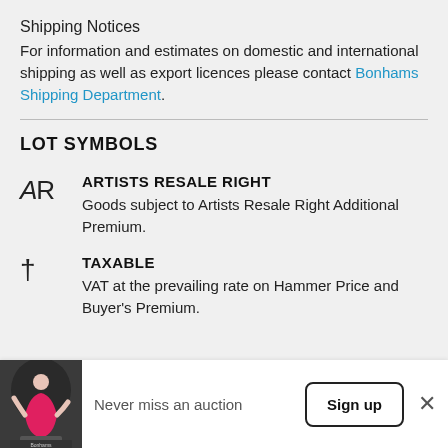Shipping Notices
For information and estimates on domestic and international shipping as well as export licences please contact Bonhams Shipping Department.
LOT SYMBOLS
AR  ARTISTS RESALE RIGHT
Goods subject to Artists Resale Right Additional Premium.
†  TAXABLE
VAT at the prevailing rate on Hammer Price and Buyer's Premium.
[Figure (photo): Banner at bottom showing an auctioneer in pink jacket at podium, with text 'Never miss an auction' and a 'Sign up' button and close X button.]